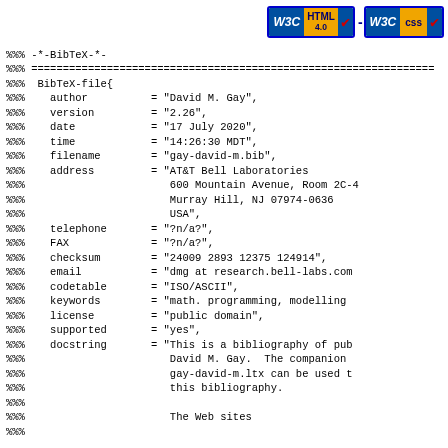[Figure (logo): W3C HTML 4.0 and W3C CSS validation badges with checkmarks]
%%% -*-BibTeX-*-
%%% ================================================================
%%%  BibTeX-file{
%%%    author      = "David M. Gay",
%%%    version     = "2.26",
%%%    date        = "17 July 2020",
%%%    time        = "14:26:30 MDT",
%%%    filename    = "gay-david-m.bib",
%%%    address     = "AT&T Bell Laboratories
%%%                   600 Mountain Avenue, Room 2C-4
%%%                   Murray Hill, NJ 07974-0636
%%%                   USA",
%%%    telephone   = "?n/a?",
%%%    FAX         = "?n/a?",
%%%    checksum    = "24009 2893 12375 124914",
%%%    email       = "dmg at research.bell-labs.com
%%%    codetable   = "ISO/ASCII",
%%%    keywords    = "math. programming, modelling 
%%%    license     = "public domain",
%%%    supported   = "yes",
%%%    docstring   = "This is a bibliography of pub
%%%                   David M. Gay.  The companion 
%%%                   gay-david-m.ltx can be used t
%%%                   this bibliography.
%%%
%%%                   The Web sites
%%%